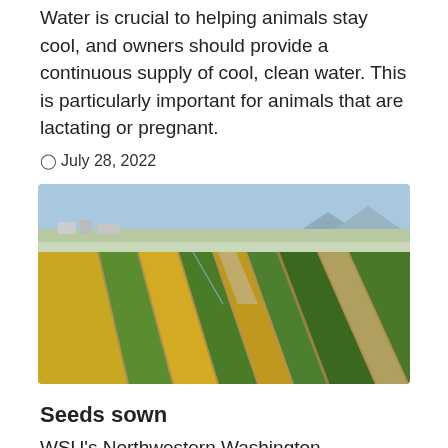Water is crucial to helping animals stay cool, and owners should provide a continuous supply of cool, clean water. This is particularly important for animals that are lactating or pregnant.
🕐 July 28, 2022
[Figure (photo): Aerial photograph of agricultural fields showing alternating strips of green and golden/yellow crops with pathways between them, farm buildings and mountains visible in the background.]
Seeds sown
WSU's Northwestern Washington